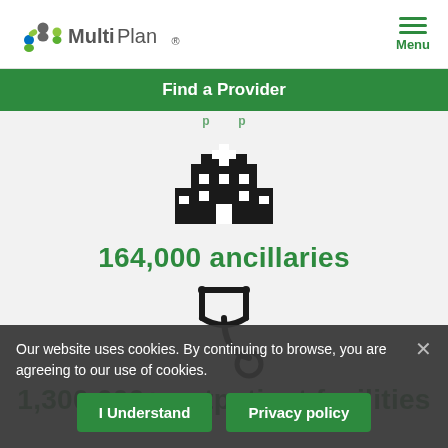MultiPlan — Menu
Find a Provider
[Figure (illustration): Hospital building icon — black silhouette of a hospital with a cross sign on top]
164,000 ancillaries
[Figure (illustration): Stethoscope icon — black outline stethoscope]
1,300,000+ outpatient facilities
Our website uses cookies. By continuing to browse, you are agreeing to our use of cookies.
I Understand
Privacy policy